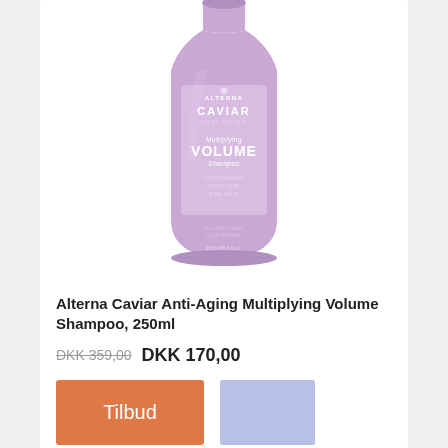[Figure (photo): Alterna Caviar Anti-Aging Multiplying Volume Shampoo bottle, 250ml, purple/lavender color with white text labels]
Alterna Caviar Anti-Aging Multiplying Volume Shampoo, 250ml
DKK 359,00 DKK 170,00
Tilbud